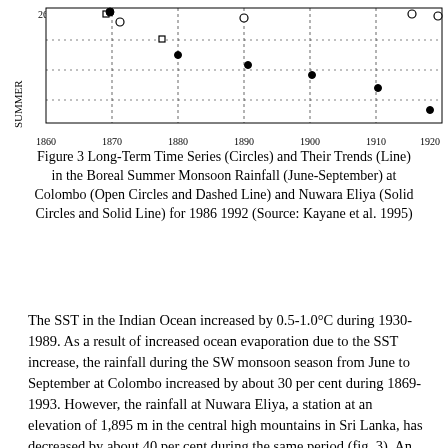[Figure (continuous-plot): Top portion of a time series chart showing long-term rainfall data with Y-axis labeled 'SUMMER' and X-axis showing years from 1860 to 1920. Open and solid circles plotted with dashed and solid trend lines.]
Figure 3 Long-Term Time Series (Circles) and Their Trends (Line) in the Boreal Summer Monsoon Rainfall (June-September) at Colombo (Open Circles and Dashed Line) and Nuwara Eliya (Solid Circles and Solid Line) for 1986 1992 (Source: Kayane et al. 1995)
The SST in the Indian Ocean increased by 0.5-1.0°C during 1930-1989. As a result of increased ocean evaporation due to the SST increase, the rainfall during the SW monsoon season from June to September at Colombo increased by about 30 per cent during 1869-1993. However, the rainfall at Nuwara Eliya, a station at an elevation of 1,895 m in the central high mountains in Sri Lanka, has decreased by about 40 per cent during the same period (fig. 3). An almost linear increase in rainfall during 1870-1970 was also observed at Calicut (Lengerke 1976), a coastal station in south-west India located to the west of the